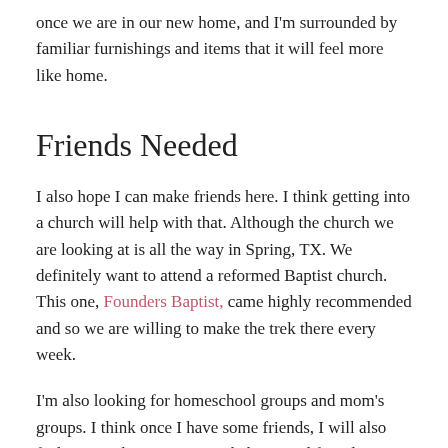once we are in our new home, and I'm surrounded by familiar furnishings and items that it will feel more like home.
Friends Needed
I also hope I can make friends here. I think getting into a church will help with that. Although the church we are looking at is all the way in Spring, TX. We definitely want to attend a reformed Baptist church. This one, Founders Baptist, came highly recommended and so we are willing to make the trek there every week.
I'm also looking for homeschool groups and mom's groups. I think once I have some friends, I will also feel more at home. My poor babies need friends as well. This is such a huge adjustment for all of us. I recently logged back onto Facebook for the sole purpose of trying to find groups to join. Wish me luck!
Our Homeschool Situation